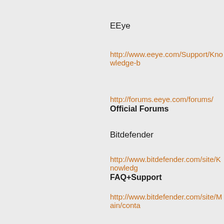EEye
http://www.eeye.com/Support/Knowledge-b…
http://forums.eeye.com/forums/
Official Forums
Bitdefender
http://www.bitdefender.com/site/Knowledge…
FAQ+Support
http://www.bitdefender.com/site/Main/conta…
Contact
Avira
http://www.avira.com/en/support/index.htm…
Knowledgebase
http://www.avira.com/en/support/faqindex.p…
FAQ